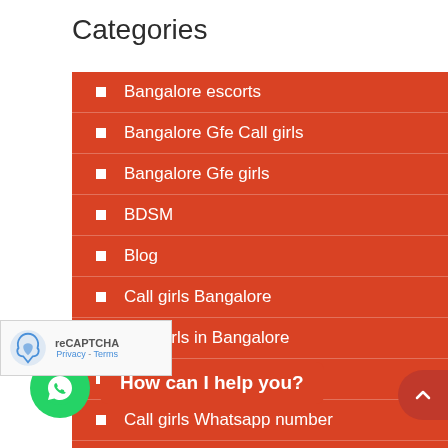Categories
Bangalore escorts
Bangalore Gfe Call girls
Bangalore Gfe girls
BDSM
Blog
Call girls Bangalore
Call girls in Bangalore
Call girls Phone number
Call girls Whatsapp number
Career as an escort Bangalore
celebrity escorts
celebrity escorts bangalore
How can I help you?